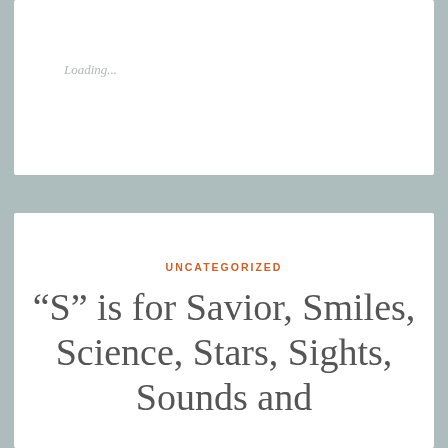Loading...
UNCATEGORIZED
“S” is for Savior, Smiles, Science, Stars, Sights, Sounds and